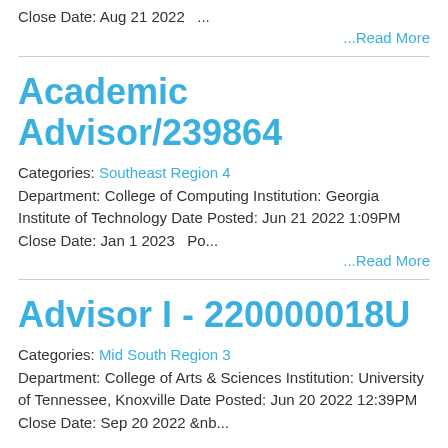Close Date: Aug 21 2022   ...
...Read More
Academic Advisor/239864
Categories: Southeast Region 4
Department: College of Computing Institution: Georgia Institute of Technology Date Posted: Jun 21 2022 1:09PM Close Date: Jan 1 2023   Po...
...Read More
Advisor I - 220000018U
Categories: Mid South Region 3
Department: College of Arts & Sciences Institution: University of Tennessee, Knoxville Date Posted: Jun 20 2022 12:39PM Close Date: Sep 20 2022 &nb...